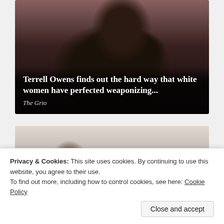[Figure (photo): A man wearing sunglasses and a dark blazer, looking upward, with a blurred stadium background.]
Terrell Owens finds out the hard way that white women have perfected weaponizing...
The Grio
[Figure (photo): Partially visible image below, showing a person, cropped by the cookie notice overlay.]
Privacy & Cookies: This site uses cookies. By continuing to use this website, you agree to their use.
To find out more, including how to control cookies, see here: Cookie Policy
Close and accept